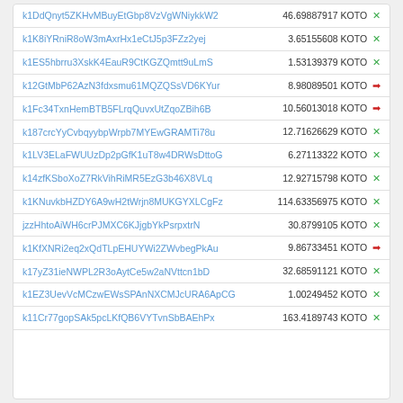| Address | Amount |
| --- | --- |
| k1DdQnyt5ZKHvMBuyEtGbp8VzVgWNiykkW2 | 46.69887917 KOTO ✗ |
| k1K8iYRniR8oW3mAxrHx1eCtJ5p3FZz2yej | 3.65155608 KOTO ✗ |
| k1ES5hbrru3XskK4EauR9CtKGZQmtt9uLmS | 1.53139379 KOTO ✗ |
| k12GtMbP62AzN3fdxsmu61MQZQSsVD6KYur | 8.98089501 KOTO → |
| k1Fc34TxnHemBTB5FLrqQuvxUtZqoZBih6B | 10.56013018 KOTO → |
| k187crcYyCvbqyybpWrpb7MYEwGRAMTi78u | 12.71626629 KOTO ✗ |
| k1LV3ELaFWUUzDp2pGfK1uT8w4DRWsDttoG | 6.27113322 KOTO ✗ |
| k14zfKSboXoZ7RkVihRiMR5EzG3b46X8VLq | 12.92715798 KOTO ✗ |
| k1KNuvkbHZDY6A9wH2tWrjn8MUKGYXLCgFz | 114.63356975 KOTO ✗ |
| jzzHhtoAiWH6crPJMXC6KJjgbYkPsrpxtrN | 30.8799105 KOTO ✗ |
| k1KfXNRi2eq2xQdTLpEHUYWi2ZWvbegPkAu | 9.86733451 KOTO → |
| k17yZ31ieNWPL2R3oAytCe5w2aNVttcn1bD | 32.68591121 KOTO ✗ |
| k1EZ3UevVcMCzwEWsSPAnNXCMJcURA6ApCG | 1.00249452 KOTO ✗ |
| k11Cr77gopSAk5pcLKfQB6VYTvnSbBAEhPx | 163.4189743 KOTO ✗ |